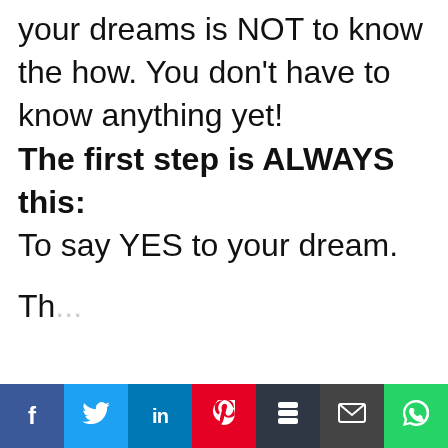your dreams is NOT to know the how. You don't have to know anything yet!

The first step is ALWAYS this:

To say YES to your dream.

Th... ...YES
Social share bar: Facebook, Twitter, LinkedIn, Pinterest, Buffer, Email, WhatsApp